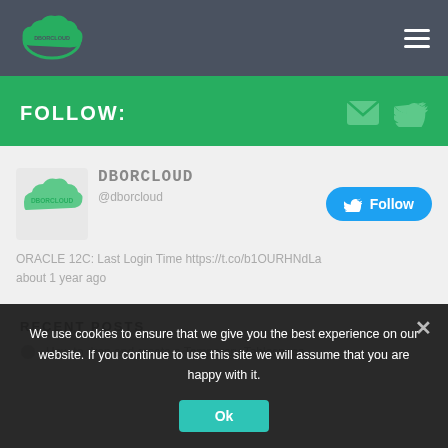[Figure (logo): DBORCLOUD cloud logo in green on dark nav bar]
FOLLOW:
[Figure (logo): DBORCLOUD Twitter profile logo - cloud icon with DBORCLOUD text]
DBORCLOUD @dborcloud ORACLE 12C: Last Login Time https://t.co/b1OURHNdLa about 1 year ago
RECENT POSTS
How to drop and create a Temporary Tablespace
We use cookies to ensure that we give you the best experience on our website. If you continue to use this site we will assume that you are happy with it.